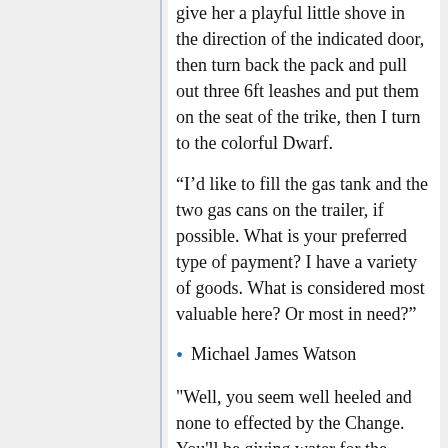give her a playful little shove in the direction of the indicated door, then turn back the pack and pull out three 6ft leashes and put them on the seat of the trike, then I turn to the colorful Dwarf.
“I’d like to fill the gas tank and the two gas cans on the trailer, if possible. What is your preferred type of payment? I have a variety of goods. What is considered most valuable here? Or most in need?”
Michael James Watson
"Well, you seem well heeled and none to effected by the Change. You'll be giving water for the cause but lets say 100 rounds, any ammo will fill the bike and a couple cans. Ammo is scarce. Six months and three days ago I was leading 12 tank trucks up from Galveston